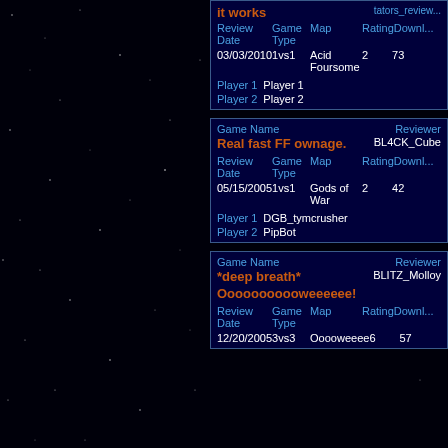| Game Name | Reviewer |
| --- | --- |
| it works | tators_review... |
| Review Date | Game Type | Map | Rating | Downloads |
| 03/03/2010 | 1vs1 | Acid Foursome | 2 | 73 |
| Player 1 | Player 1 |
| Player 2 | Player 2 |
| Game Name | Reviewer |
| --- | --- |
| Real fast FF ownage. | BL4CK_Cube |
| Review Date | Game Type | Map | Rating | Downloads |
| 05/15/2005 | 1vs1 | Gods of War | 2 | 42 |
| Player 1 | DGB_tymcrusher |
| Player 2 | PipBot |
| Game Name | Reviewer |
| --- | --- |
| *deep breath* Ooooooooooweeeeee! | BLITZ_Molloy |
| Review Date | Game Type | Map | Rating | Downloads |
| 12/20/2005 | 3vs3 | Ooooweeee | 6 | 57 |